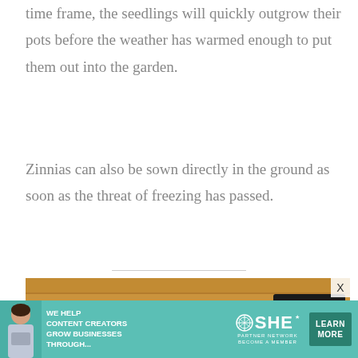time frame, the seedlings will quickly outgrow their pots before the weather has warmed enough to put them out into the garden.
Zinnias can also be sown directly in the ground as soon as the threat of freezing has passed.
[Figure (photo): Interior of a wooden shed or greenhouse with storage shelves along the top, plastic trays and containers visible, windows looking out onto a green landscape.]
[Figure (infographic): Advertisement banner for SHE Media Partner Network. Shows a woman with a laptop, text: WE HELP CONTENT CREATORS GROW BUSINESSES THROUGH... SHE Partner Network - BECOME A MEMBER. Learn More button.]